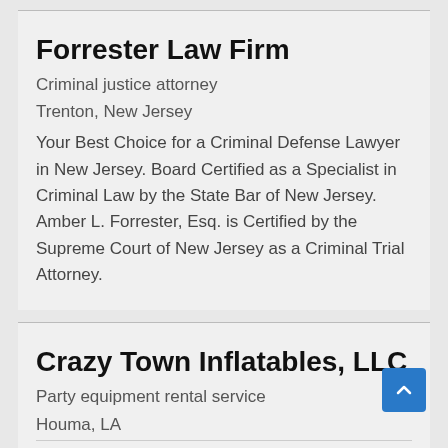Forrester Law Firm
Criminal justice attorney
Trenton, New Jersey
Your Best Choice for a Criminal Defense Lawyer in New Jersey. Board Certified as a Specialist in Criminal Law by the State Bar of New Jersey. Amber L. Forrester, Esq. is Certified by the Supreme Court of New Jersey as a Criminal Trial Attorney.
Crazy Town Inflatables, LLC
Party equipment rental service
Houma, LA
Come Party with Us!